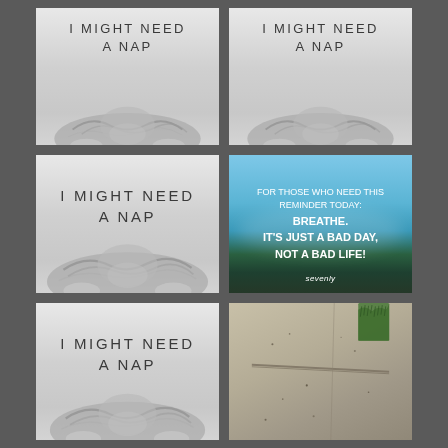[Figure (photo): Black and white photo of a sleeping fluffy dog with text 'I MIGHT NEED A NAP' - top left]
[Figure (photo): Black and white photo of a sleeping fluffy dog with text 'I MIGHT NEED A NAP' - top right]
[Figure (photo): Black and white photo of a sleeping fluffy dog with text 'I MIGHT NEED A NAP' - middle left, larger]
[Figure (photo): Blue sky with mountain and forest silhouette, motivational text: 'FOR THOSE WHO NEED THIS REMINDER TODAY: BREATHE. IT'S JUST A BAD DAY, NOT A BAD LIFE!' with Sevenly branding]
[Figure (photo): Black and white photo of a sleeping fluffy dog with text 'I MIGHT NEED A NAP' - bottom left]
[Figure (photo): Close-up photo of concrete pavement with grass in top right corner and small debris/ants visible]